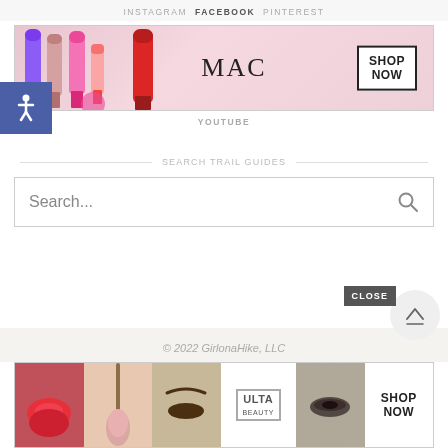INSTAGRAM  FACEBOOK  PINTEREST
[Figure (screenshot): MAC Cosmetics advertisement banner showing colorful lipsticks with MAC logo and SHOP NOW button]
[Figure (infographic): Accessibility wheelchair icon button on blue background]
YOUTUBE
SEARCH TRAIL GUIDES
[Figure (screenshot): Search input box with placeholder text 'Search...' and magnifying glass icon]
© 2022 GirlonaHike, LLC
[Figure (screenshot): ULTA Beauty advertisement banner showing makeup models, ULTA logo, and SHOP NOW text. Includes CLOSE button overlay.]